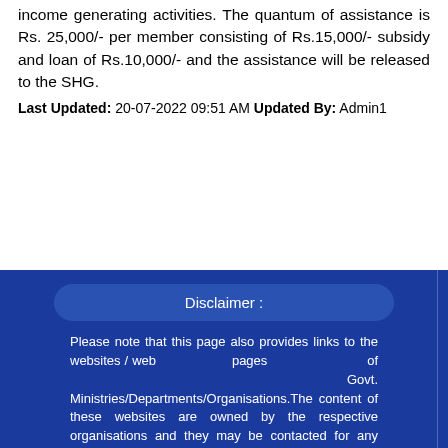income generating activities. The quantum of assistance is Rs. 25,000/- per member consisting of Rs.15,000/- subsidy and loan of Rs.10,000/- and the assistance will be released to the SHG.
Last Updated: 20-07-2022 09:51 AM Updated By: Admin1
Disclaimer :
Please note that this page also provides links to the websites / web pages of Govt. Ministries/Departments/Organisations.The content of these websites are owned by the respective organisations and they may be contacted for any further information or suggestion
Website Policies
Visitors
Copyright Policy
Last Updated :